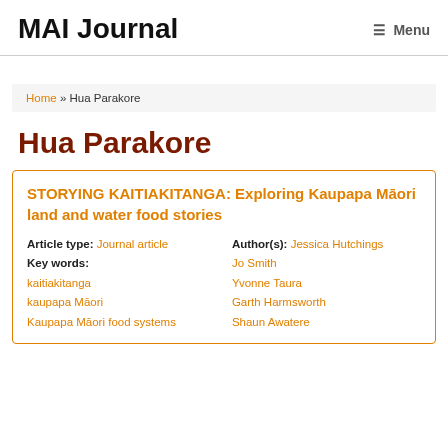MAI Journal
Menu
Home » Hua Parakore
Hua Parakore
STORYING KAITIAKITANGA: Exploring Kaupapa Māori land and water food stories
Article type: Journal article   Author(s): Jessica Hutchings
Key words:                        Jo Smith
kaitiakitanga                     Yvonne Taura
kaupapa Māori                     Garth Harmsworth
Kaupapa Māori food systems        Shaun Awatere